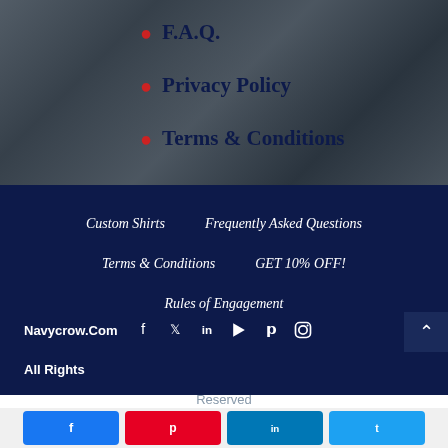F.A.Q.
Privacy Policy
Terms & Conditions
Custom Shirts   Frequently Asked Questions
Terms & Conditions   GET 10% OFF!
Rules of Engagement
Navycrow.Com
All Rights
Reserved